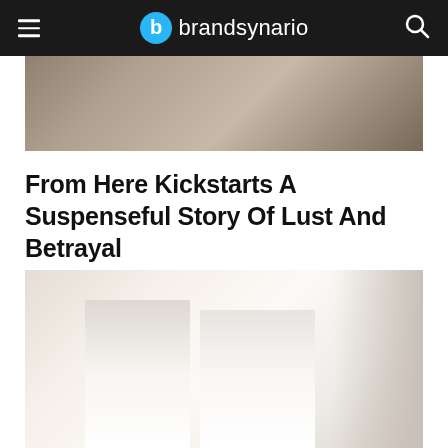brandsynario
[Figure (photo): Top portion of an article image showing a person, partially visible at top of page]
From Here Kickstarts A Suspenseful Story Of Lust And Betrayal
[Figure (photo): Faded/washed out photo showing two white-clothed figures in a blurry indoor setting]